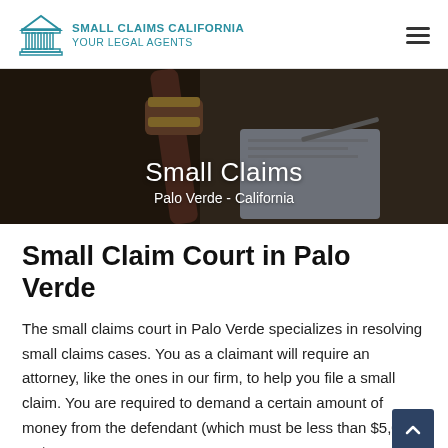SMALL CLAIMS CALIFORNIA YOUR LEGAL AGENTS
[Figure (photo): Hero image of a judge's gavel on a desk with document papers in background, overlaid with text 'Small Claims' and 'Palo Verde - California']
Small Claim Court in Palo Verde
The small claims court in Palo Verde specializes in resolving small claims cases. You as a claimant will require an attorney, like the ones in our firm, to help you file a small claim. You are required to demand a certain amount of money from the defendant (which must be less than $5,000 or $10,000,